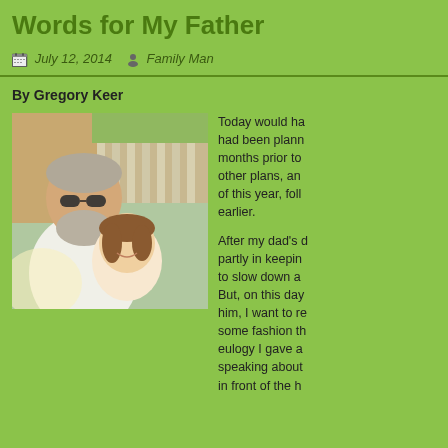Words for My Father
July 12, 2014   Family Man
By Gregory Keer
[Figure (photo): An older man with gray beard and sunglasses hugging a young girl outdoors, both smiling, with a white fence and trees in background.]
Today would ha... had been plann... months prior to ... other plans, an... of this year, foll... earlier.
After my dad's d... partly in keepin... to slow down a... But, on this day... him, I want to re... some fashion th... eulogy I gave a... speaking about... in front of the h...